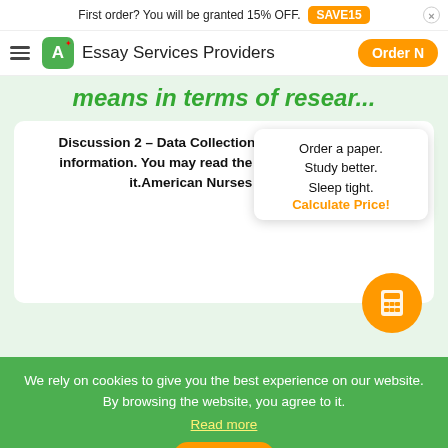First order? You will be granted 15% OFF. SAVE15
Essay Services Providers  Order N
means in terms of resear...
Discussion 2 – Data CollectionAccess the following information. You may read the PDF onli... download it.American Nurses Associa...
Order a paper. Study better. Sleep tight. Calculate Price!
We rely on cookies to give you the best experience on our website. By browsing the website, you agree to it. Read more
I agree